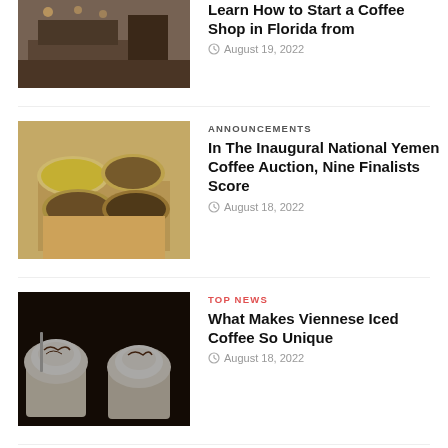[Figure (photo): Interior of a coffee shop counter/bar area]
Learn How to Start a Coffee Shop in Florida from
August 19, 2022
[Figure (photo): Person holding trays of various coffee beans]
ANNOUNCEMENTS
In The Inaugural National Yemen Coffee Auction, Nine Finalists Score
August 18, 2022
[Figure (photo): Two Viennese iced coffees with whipped cream and chocolate drizzle]
TOP NEWS
What Makes Viennese Iced Coffee So Unique
August 18, 2022
[Figure (photo): Coffee beans close-up]
FROM ORIGIN